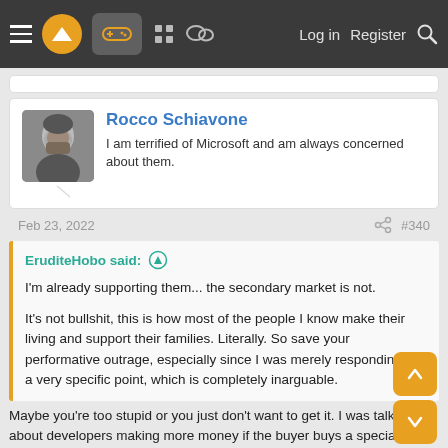Navigation bar with hamburger menu, logo, gamepad icon, grid icon, chat icon, Log in, Register, Search
Rocco Schiavone
I am terrified of Microsoft and am always concerned about them.
Feb 23, 2022  #340
EruditeHobo said:
I'm already supporting them... the secondary market is not.

It's not bullshit, this is how most of the people I know make their living and support their families. Literally. So save your performative outrage, especially since I was merely responding to a very specific point, which is completely inarguable.
Maybe you're too stupid or you just don't want to get it. I was talking about developers making more money if the buyer buys a special or collectors version instead of just buying a game digitally. I wasn't talking about the used game market.